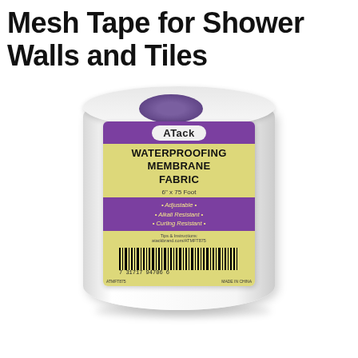Mesh Tape for Shower Walls and Tiles
[Figure (photo): A white roll of ATack Waterproofing Membrane Fabric, 6 inches x 75 foot. The roll has a purple and yellow label showing the brand name ATack, product name WATERPROOFING MEMBRANE FABRIC, features: Adjustable, Alkali Resistant, Curling Resistant, tips URL atackbrand.com/ATMFT875, barcode 7 31717 94706 6, ATMFT875, MADE IN CHINA.]